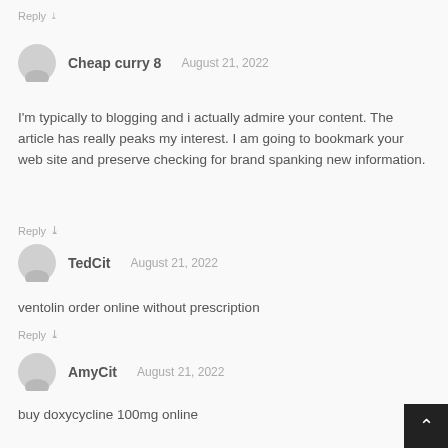Reply ˅
Cheap curry 8   August 21, 2022
I'm typically to blogging and i actually admire your content. The article has really peaks my interest. I am going to bookmark your web site and preserve checking for brand spanking new information.
Reply ˅
TedCit   August 21, 2022
ventolin order online without prescription
Reply ˅
AmyCit   August 21, 2022
buy doxycycline 100mg online